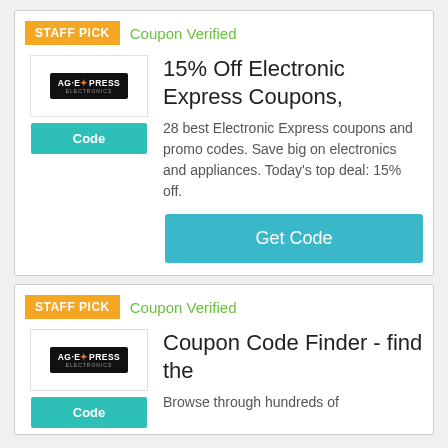[Figure (screenshot): Coupon card 1 with STAFF PICK badge, Coupon Verified label, AG Express Electronics logo, Code button, title '15% Off Electronic Express Coupons,', description text, and Get Code button]
STAFF PICK
Coupon Verified
15% Off Electronic Express Coupons,
28 best Electronic Express coupons and promo codes. Save big on electronics and appliances. Today's top deal: 15% off.
Get Code
[Figure (screenshot): Coupon card 2 with STAFF PICK badge, Coupon Verified label, AG Express Electronics logo, Code button, title 'Coupon Code Finder - find the', and partial description 'Browse through hundreds of']
STAFF PICK
Coupon Verified
Coupon Code Finder - find the
Browse through hundreds of